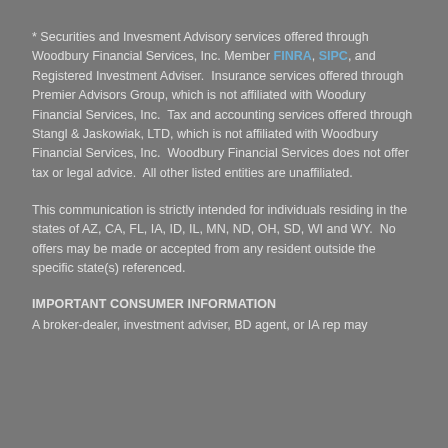* Securities and Invesment Advisory services offered through Woodbury Financial Services, Inc. Member FINRA, SIPC, and Registered Investment Adviser.  Insurance services offered through Premier Advisors Group, which is not affiliated with Woodury Financial Services, Inc.  Tax and accounting services offered through Stangl & Jaskowiak, LTD, which is not affiliated with Woodbury Financial Services, Inc.  Woodbury Financial Services does not offer tax or legal advice.  All other listed entities are unaffiliated.
This communication is strictly intended for individuals residing in the states of AZ, CA, FL, IA, ID, IL, MN, ND, OH, SD, WI and WY.  No offers may be made or accepted from any resident outside the specific state(s) referenced.
IMPORTANT CONSUMER INFORMATION
A broker-dealer, investment adviser, BD agent, or IA rep may